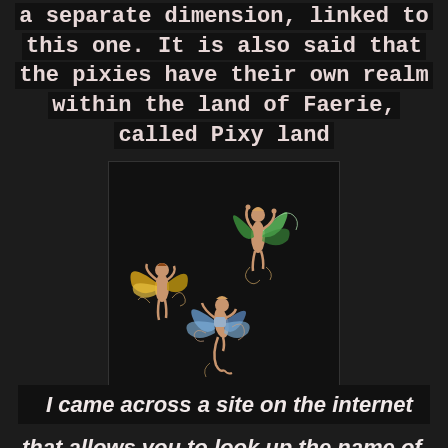a separate dimension, linked to this one. It is also said that the pixies have their own realm within the land of Faerie, called Pixy land
[Figure (illustration): Three fairy/pixie figures with wings against a dark background. One has yellow-green wings on the left, one has green wings at top right, and one has blue wings at bottom center. Decorative swirling elements around them.]
I came across a site on the internet that allows you to look up the name of your magic fairy by just adding your own